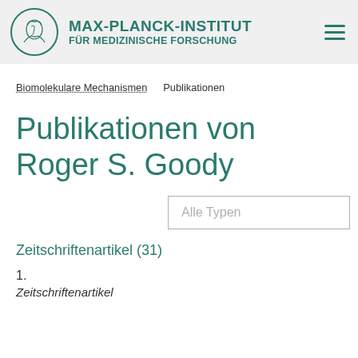[Figure (logo): Max-Planck-Institut für Medizinische Forschung logo with circular emblem of Athena figure and teal institute name text, plus hamburger menu icon]
Biomolekulare Mechanismen   Publikationen
Publikationen von Roger S. Goody
Alle Typen
Zeitschriftenartikel (31)
1.
Zeitschriftenartikel